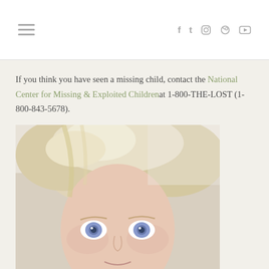Navigation header with hamburger menu and social icons (f, t, instagram, pinterest, youtube)
If you think you have seen a missing child, contact the National Center for Missing & Exploited Children at 1-800-THE-LOST (1-800-843-5678).
[Figure (photo): Close-up photo of a woman with blonde/white hair and blue eyes, cropped to show face and top of head]